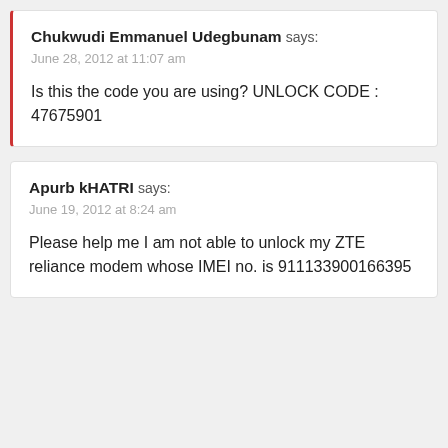Chukwudi Emmanuel Udegbunam says: June 28, 2012 at 11:07 am

Is this the code you are using? UNLOCK CODE : 47675901
Apurb kHATRI says: June 19, 2012 at 8:24 am

Please help me I am not able to unlock my ZTE reliance modem whose IMEI no. is 911133900166395